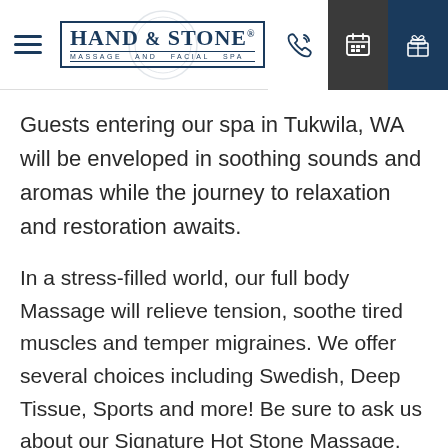Hand & Stone Massage and Facial Spa — Navigation header with logo, phone, calendar, and gift icons
Guests entering our spa in Tukwila, WA will be enveloped in soothing sounds and aromas while the journey to relaxation and restoration awaits.
In a stress-filled world, our full body Massage will relieve tension, soothe tired muscles and temper migraines. We offer several choices including Swedish, Deep Tissue, Sports and more! Be sure to ask us about our Signature Hot Stone Massage, designed to melt away the stress of deadlines and hectic schedules. Looking for quality time with a loved one? Ask us about our private sanctuaries reserved for